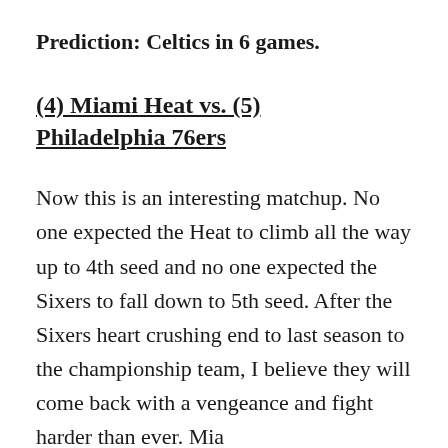Prediction: Celtics in 6 games.
(4) Miami Heat vs. (5) Philadelphia 76ers
Now this is an interesting matchup. No one expected the Heat to climb all the way up to 4th seed and no one expected the Sixers to fall down to 5th seed. After the Sixers heart crushing end to last season to the championship team, I believe they will come back with a vengeance and fight harder than ever. Mia...